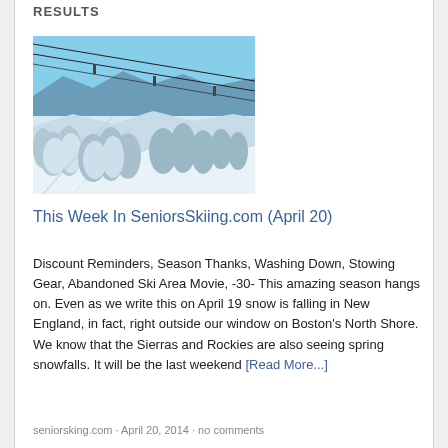RESULTS
[Figure (photo): Snow-covered ski slope with chairlift cables overhead and frosted pine trees, blue sky in background]
This Week In SeniorsSkiing.com (April 20)
Discount Reminders, Season Thanks, Washing Down, Stowing Gear, Abandoned Ski Area Movie, -30- This amazing season hangs on. Even as we write this on April 19 snow is falling in New England, in fact, right outside our window on Boston's North Shore. We know that the Sierras and Rockies are also seeing spring snowfalls. It will be the last weekend [Read More...]
seniorsking.com · April 20, 2014 · no comments